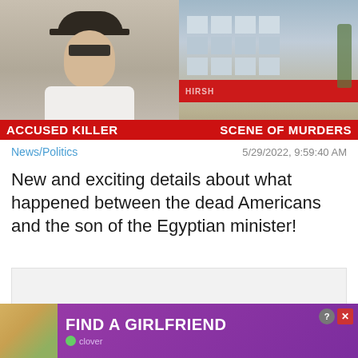[Figure (photo): Two-panel image: left panel shows a mugshot of a man wearing a hat (labeled ACCUSED KILLER in red banner), right panel shows a building exterior (labeled SCENE OF MURDERS in red banner)]
News/Politics
5/29/2022, 9:59:40 AM
New and exciting details about what happened between the dead Americans and the son of the Egyptian minister!
[Figure (other): Large blank/loading advertisement placeholder with a Close X button in bottom right corner]
[Figure (other): Advertisement banner at bottom: FIND A GIRLFRIEND by clover app, with photo of woman and pink/purple background]